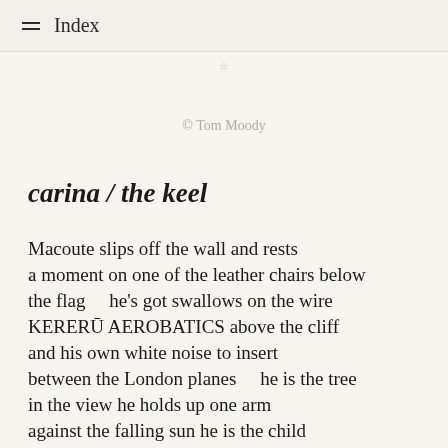Index
© Tom Moody
carina  /  the keel
Macoute slips off the wall and rests
a moment on one of the leather chairs below
the flag     he's got swallows on the wire
KERERŪ AEROBATICS above the cliff
and his own white noise to insert
between the London planes     he is the tree
in the view he holds up one arm
against the falling sun he is the child
you caught on the print the plan scribbled